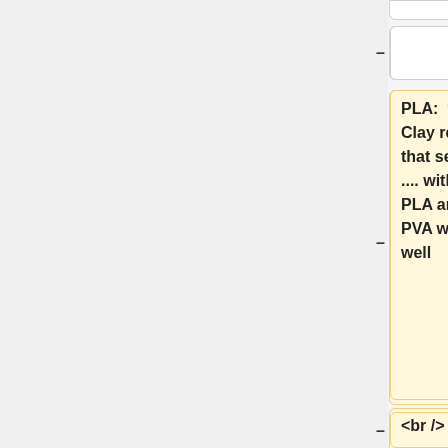PLA:  9/28/2015 Clay reports that settings of .... with 3mm PLA and 3mm PVA worked well
<br />
ABS:
<br />
HIPS:
== Recommended settings - Single Extruder Taz ==
The standard [[slicing software]] favored for